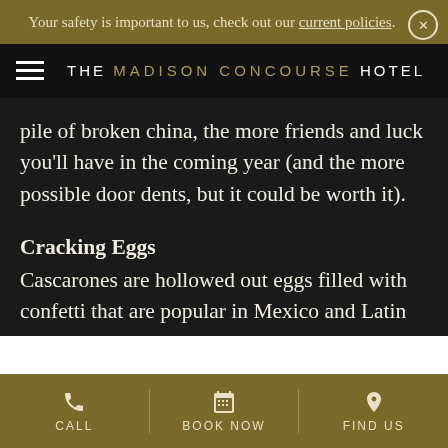Your safety is important to us, check out our current policies.
THE MADISON CONCOURSE HOTEL
pile of broken china, the more friends and luck you'll have in the coming year (and the more possible door dents, but it could be worth it).
Cracking Eggs
Cascarones are hollowed out eggs filled with confetti that are popular in Mexico and Latin America during holidays. To have one broken on your head is a sign of affection and believed to bring good fortune. You
CALL  BOOK NOW  FIND US